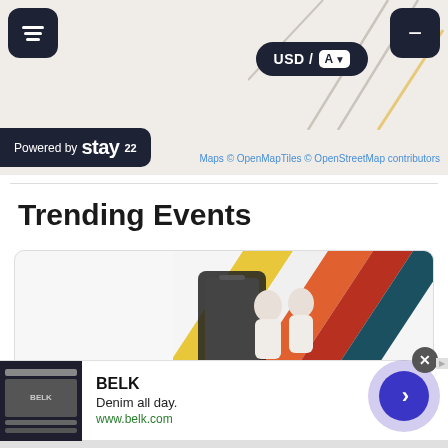[Figure (screenshot): Map UI screenshot showing a travel/events app interface with a layers button, USD/AZ currency selector, minus zoom button, and Powered by Stay22 attribution bar. Partial map view with decorative lines.]
Powered by stay22
Maps © OpenMapTiles © OpenStreetMap contributors
Trending Events
[Figure (screenshot): Event card showing two people running in front of colorful diagonal stripes (yellow, orange, red, teal) with a smartphone, with an Infolinks badge in the corner.]
[Figure (screenshot): Ad banner for BELK: 'Denim all day. www.belk.com' with a fashion image on the left and a purple circular next-button on the right.]